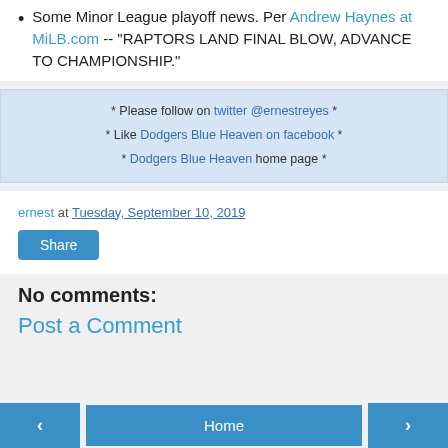Some Minor League playoff news. Per Andrew Haynes at MiLB.com -- "RAPTORS LAND FINAL BLOW, ADVANCE TO CHAMPIONSHIP."
* Please follow on twitter @ernestreyes * * Like Dodgers Blue Heaven on facebook * * Dodgers Blue Heaven home page *
ernest at Tuesday, September 10, 2019
Share
No comments:
Post a Comment
‹  Home  ›